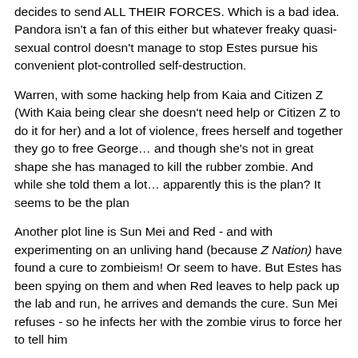decides to send ALL THEIR FORCES. Which is a bad idea. Pandora isn't a fan of this either but whatever freaky quasi-sexual control doesn't manage to stop Estes pursue his convenient plot-controlled self-destruction.
Warren, with some hacking help from Kaia and Citizen Z (With Kaia being clear she doesn't need help or Citizen Z to do it for her) and a lot of violence, frees herself and together they go to free George… and though she's not in great shape she has managed to kill the rubber zombie. And while she told them a lot… apparently this is the plan? It seems to be the plan
Another plot line is Sun Mei and Red - and with experimenting on an unliving hand (because Z Nation) have found a cure to zombieism! Or seem to have. But Estes has been spying on them and when Red leaves to help pack up the lab and run, he arrives and demands the cure. Sun Mei refuses - so he infects her with the zombie virus to force her to tell him
She refuses.
She becomes a zombie
They fall back to a base to regroup… Warren and…